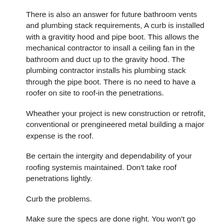There is also an answer for future bathroom vents and plumbing stack requirements, A curb is installed with a gravitity hood and pipe boot. This allows the mechanical contractor to insall a ceiling fan in the bathroom and duct up to the gravity hood. The plumbing contractor installs his plumbing stack through the pipe boot. There is no need to have a roofer on site to roof-in the penetrations.
Wheather your project is new construction or retrofit, conventional or prengineered metal building a major expense is the roof.
Be certain the intergity and dependability of your roofing systemis maintained. Don't take roof penetrations lightly.
Curb the problems.
Make sure the specs are done right. You won't go wrong.